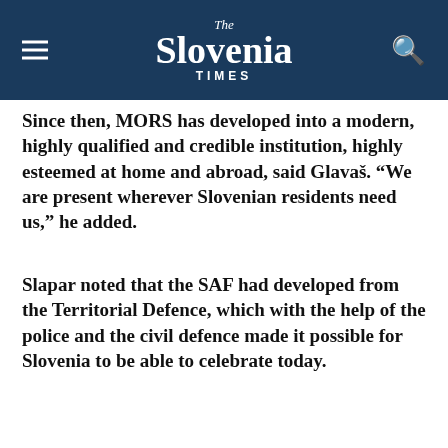The Slovenia Times
Since then, MORS has developed into a modern, highly qualified and credible institution, highly esteemed at home and abroad, said Glavaš. “We are present wherever Slovenian residents need us,” he added.
Slapar noted that the SAF had developed from the Territorial Defence, which with the help of the police and the civil defence made it possible for Slovenia to be able to celebrate today.
We use cookies on our website to give you the most relevant experience by remembering your preferences and repeat visits. By clicking “Accept”, you consent to the use of ALL the cookies.
Cookie settings
ACCEPT